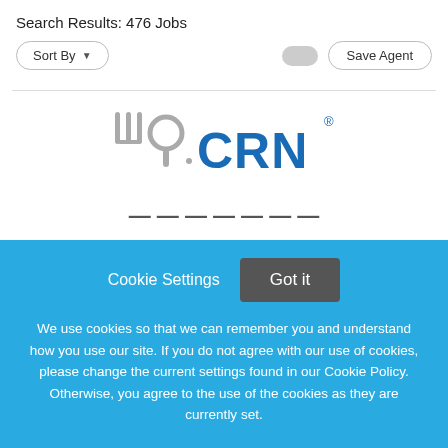Search Results: 476 Jobs
Sort By
Save Agent
[Figure (logo): Wio.CRN logo — stylized fork/cutlery icon in gray followed by 'CRN' in blue, with registration mark]
Cookie Settings   Got it
We use cookies so that we can remember you and understand how you use our site. If you do not agree with our use of cookies, please change the current settings found in our Cookie Policy. Otherwise, you agree to the use of the cookies as they are currently set.